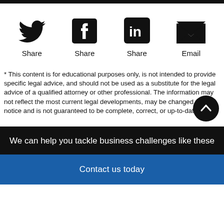[Figure (infographic): Four social sharing icons in a row: Twitter (Share), Facebook (Share), LinkedIn (Share), Email, each with label beneath]
* This content is for educational purposes only, is not intended to provide specific legal advice, and should not be used as a substitute for the legal advice of a qualified attorney or other professional. The information may not reflect the most current legal developments, may be changed without notice and is not guaranteed to be complete, correct, or up-to-date.
We can help you tackle business challenges like these
Contact us today